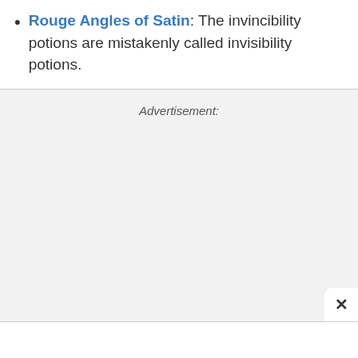Rouge Angles of Satin: The invincibility potions are mistakenly called invisibility potions.
Advertisement: